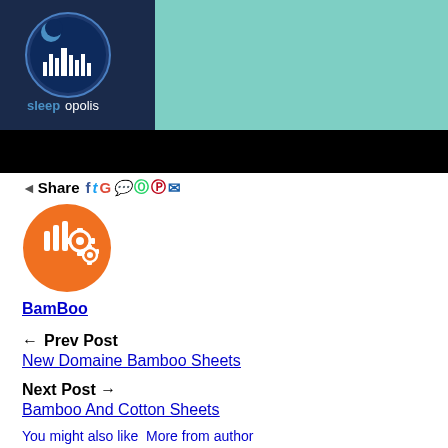[Figure (photo): Hero image with Sleepopolis logo on dark blue background on left, and teal/mint green fabric/bedding image on right, with black bar below]
Share [social media icons: Facebook, Twitter, Google+, Reddit, WhatsApp, Pinterest, Email]
[Figure (logo): Orange circular author avatar with gear/hand icons (BamBoo author icon)]
BamBoo
← Prev Post
New Domaine Bamboo Sheets
Next Post →
Bamboo And Cotton Sheets
You might also like More from author